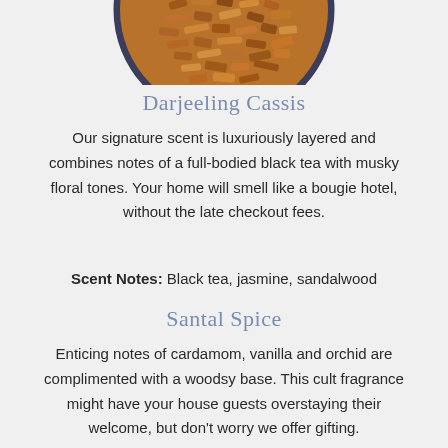[Figure (photo): Overhead view of a dark bowl filled with dried reddish-brown wood chips or tea leaves, partially cropped at the top of the page]
Darjeeling Cassis
Our signature scent is luxuriously layered and combines notes of a full-bodied black tea with musky floral tones. Your home will smell like a bougie hotel, without the late checkout fees.
Scent Notes: Black tea, jasmine, sandalwood
Santal Spice
Enticing notes of cardamom, vanilla and orchid are complimented with a woodsy base. This cult fragrance might have your house guests overstaying their welcome, but don't worry we offer gifting.